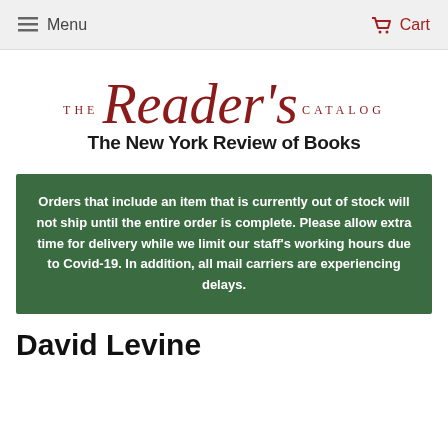Menu  Cart
[Figure (logo): The Reader's Catalog – The New York Review of Books logo, with 'Reader's' in large dark red italic script font, flanked by 'THE' and 'CATALOG' in small red uppercase spaced letters, and 'The New York Review of Books' in bold black below.]
Orders that include an item that is currently out of stock will not ship until the entire order is complete. Please allow extra time for delivery while we limit our staff's working hours due to Covid-19. In addition, all mail carriers are experiencing delays.
David Levine